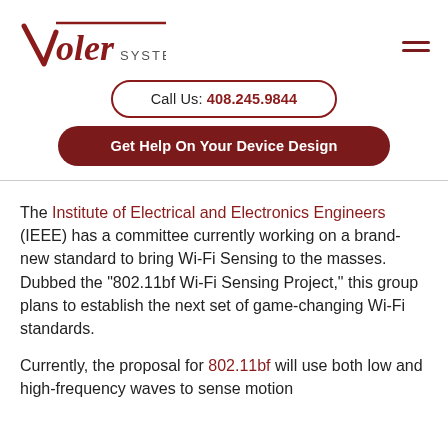Voler Systems
Call Us: 408.245.9844
Get Help On Your Device Design
The Institute of Electrical and Electronics Engineers (IEEE) has a committee currently working on a brand-new standard to bring Wi-Fi Sensing to the masses. Dubbed the "802.11bf Wi-Fi Sensing Project," this group plans to establish the next set of game-changing Wi-Fi standards.
Currently, the proposal for 802.11bf will use both low and high-frequency waves to sense motion